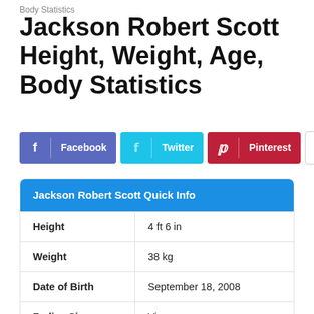Body Statistics
Jackson Robert Scott Height, Weight, Age, Body Statistics
[Figure (other): Social share buttons for Facebook, Twitter, Pinterest, and a dropdown more button]
| Jackson Robert Scott Quick Info |  |
| --- | --- |
| Height | 4 ft 6 in |
| Weight | 38 kg |
| Date of Birth | September 18, 2008 |
| Zodiac Sign | Virgo |
| Hair Color | Light Brown |